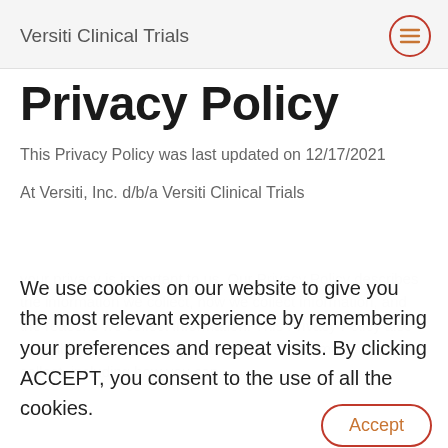Versiti Clinical Trials
Privacy Policy
This Privacy Policy was last updated on 12/17/2021
At Versiti, Inc. d/b/a Versiti Clinical Trials your privacy is important to us. Our Privacy Policy describes the information we collect, how we collect information, and the reasons we collect information. This Privacy Policy also describes the choices you have with the information we collect, including how you can...
We use cookies on our website to give you the most relevant experience by remembering your preferences and repeat visits. By clicking ACCEPT, you consent to the use of all the cookies.